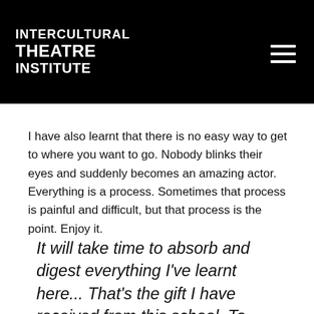INTERCULTURAL THEATRE INSTITUTE
I have also learnt that there is no easy way to get to where you want to go. Nobody blinks their eyes and suddenly becomes an amazing actor. Everything is a process. Sometimes that process is painful and difficult, but that process is the point. Enjoy it.
It will take time to absorb and digest everything I've learnt here... That's the gift I have received from this school. To have learnt and experienced so much – so